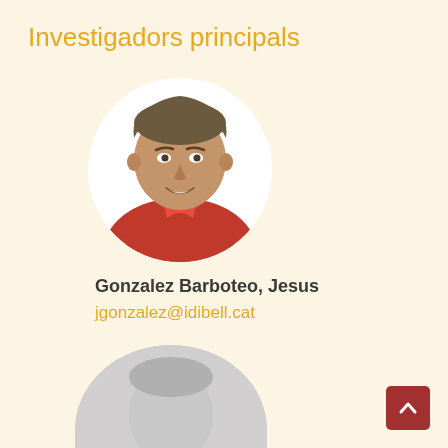Investigadors principals
[Figure (photo): Circular photo of Gonzalez Barboteo Jesus, a man wearing a red shirt, smiling]
Gonzalez Barboteo, Jesus
jgonzalez@idibell.cat
[Figure (photo): Circular placeholder silhouette avatar image in gray]